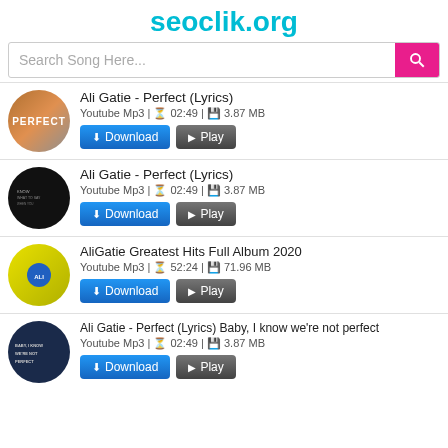seoclik.org
Search Song Here...
Ali Gatie - Perfect (Lyrics) | Youtube Mp3 | 02:49 | 3.87 MB
Ali Gatie - Perfect (Lyrics) | Youtube Mp3 | 02:49 | 3.87 MB
AliGatie Greatest Hits Full Album 2020 | Youtube Mp3 | 52:24 | 71.96 MB
Ali Gatie - Perfect (Lyrics) Baby, I know we're not perfect | Youtube Mp3 | 02:49 | 3.87 MB